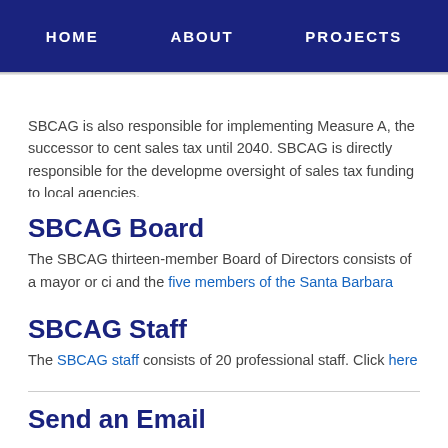HOME   ABOUT   PROJECTS
SBCAG is also responsible for implementing Measure A, the successor to cent sales tax until 2040. SBCAG is directly responsible for the development oversight of sales tax funding to local agencies.
SBCAG Board
The SBCAG thirteen-member Board of Directors consists of a mayor or ci and the five members of the Santa Barbara County Board of Supervisor
SBCAG Staff
The SBCAG staff consists of 20 professional staff. Click here to view the l
Send an Email